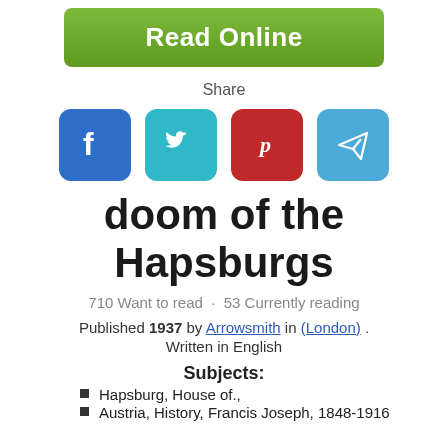[Figure (screenshot): Green Read Online button]
Share
[Figure (infographic): Social media icons: Facebook, Twitter, Pinterest, Telegram]
doom of the Hapsburgs
710 Want to read  ·  53 Currently reading
Published 1937 by Arrowsmith in (London) . Written in English
Subjects:
Hapsburg, House of.,
Austria, History, Francis Joseph, 1848-1916